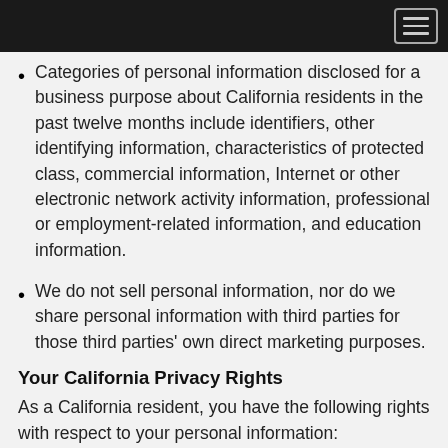Categories of personal information disclosed for a business purpose about California residents in the past twelve months include identifiers, other identifying information, characteristics of protected class, commercial information, Internet or other electronic network activity information, professional or employment-related information, and education information.
We do not sell personal information, nor do we share personal information with third parties for those third parties' own direct marketing purposes.
Your California Privacy Rights
As a California resident, you have the following rights with respect to your personal information:
You have the right to request to know about personal